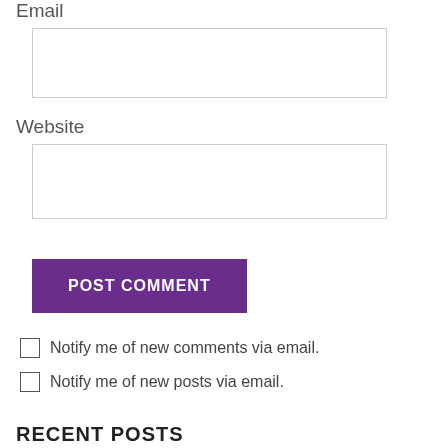Email
[Figure (other): Email input text field, empty]
Website
[Figure (other): Website input text field, empty]
[Figure (other): POST COMMENT button, purple background]
Notify me of new comments via email.
Notify me of new posts via email.
RECENT POSTS
Beholding you Become
June 2, 2020